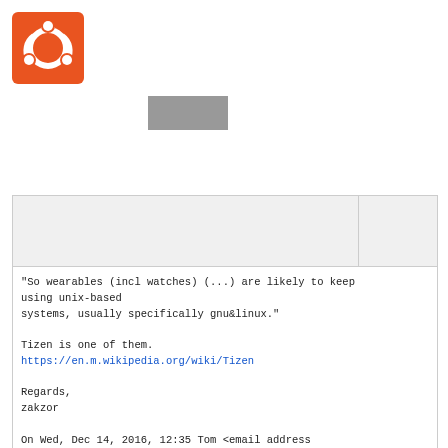[Figure (logo): Ubuntu logo: orange square with white Ubuntu circle of friends icon]
[Figure (other): Gray rectangular button or redacted area]
"So wearables (incl watches) (...) are likely to keep using unix-based
systems, usually specifically gnu&linux."

Tizen is one of them.
https://en.m.wikipedia.org/wiki/Tizen

Regards,
zakzor

On Wed, Dec 14, 2016, 12:35 Tom <email address hidden> wrote: